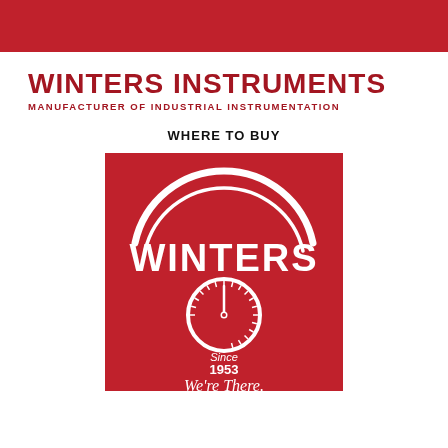[Figure (logo): Red horizontal banner bar at top of page]
WINTERS INSTRUMENTS
MANUFACTURER OF INDUSTRIAL INSTRUMENTATION
WHERE TO BUY
[Figure (logo): Winters Instruments logo on red background: arch text WINTERS above a pressure gauge dial with needle, text Since 1953, tagline We're There.]